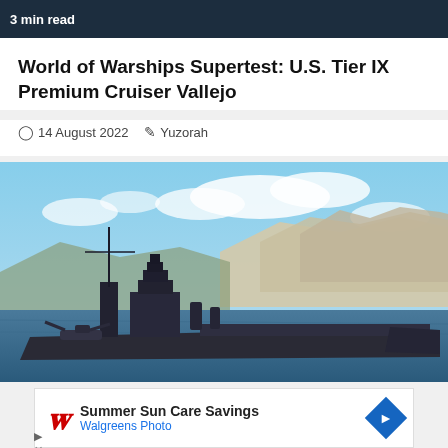3 min read
World of Warships Supertest: U.S. Tier IX Premium Cruiser Vallejo
⊙ 14 August 2022   ✎ Yuzorah
[Figure (photo): World of Warships in-game screenshot showing a large warship/cruiser in a harbor with cliffs and blue sky in the background]
[Figure (infographic): Walgreens advertisement banner: Summer Sun Care Savings, Walgreens Photo, with Walgreens logo and navigation arrow icon]